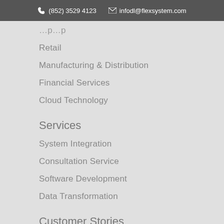(852) 3529 4123   infodl@flexsystem.com
Retail
Manufacturing & Distribution
Financial Services
Cloud Technology
Services
System Integration
Consultation Service
Software Development
Data Transformation
Customer Stories
Ricacorp Properties
Lan Kwai Fong Group
Shanghai Pudong Development Bank
China Everbright Bank